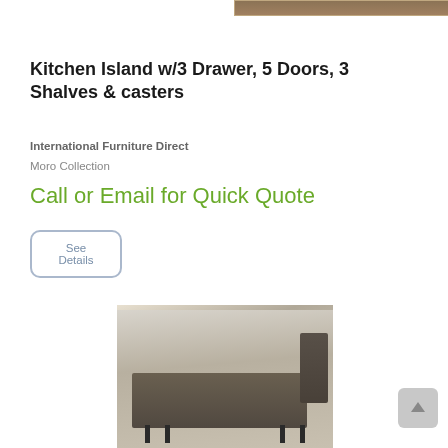[Figure (photo): Top portion of a kitchen island product photo (cropped)]
Kitchen Island w/3 Drawer, 5 Doors, 3 Shalves & casters
International Furniture Direct
Moro Collection
Call or Email for Quick Quote
See Details
[Figure (photo): Living room furniture set with coffee table, end table, and sofa in a grey/brown industrial style]